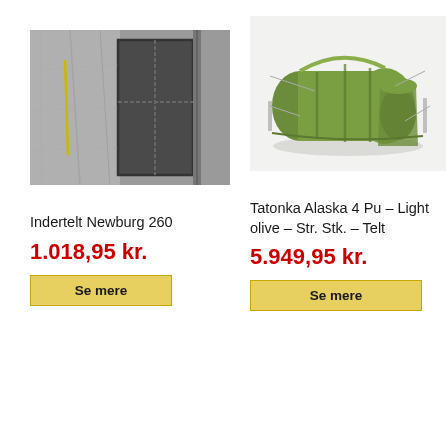[Figure (photo): Close-up photo of a grey tent interior/door area, showing fabric panels and zippers]
[Figure (photo): Photo of a green Tatonka Alaska 4 Pu tunnel tent on white background]
Indertelt Newburg 260
1.018,95 kr.
Se mere
Tatonka Alaska 4 Pu – Light olive – Str. Stk. – Telt
5.949,95 kr.
Se mere